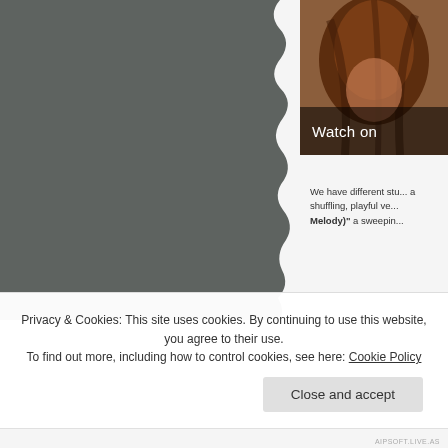[Figure (photo): Large grey/dark image occupying the left portion of the page, appears to be a blurred or dark background photo with a torn ragged right edge effect]
[Figure (photo): Small thumbnail image in the top right showing a person with reddish-brown hair, partially cropped]
Watch on
We have different stu... a shuffling, playful ve... Melody)" a sweepin...
Privacy & Cookies: This site uses cookies. By continuing to use this website, you agree to their use.
To find out more, including how to control cookies, see here: Cookie Policy
Close and accept
AIPSOFT.LIVE.AS